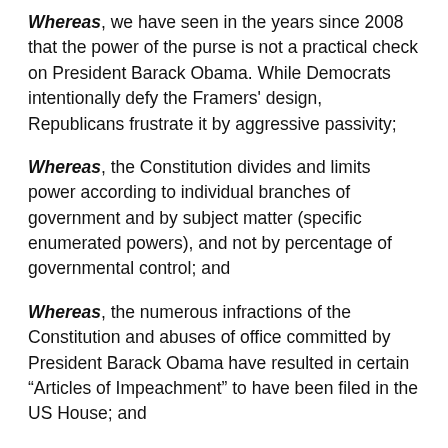Whereas, we have seen in the years since 2008 that the power of the purse is not a practical check on President Barack Obama. While Democrats intentionally defy the Framers' design, Republicans frustrate it by aggressive passivity;
Whereas, the Constitution divides and limits power according to individual branches of government and by subject matter (specific enumerated powers), and not by percentage of governmental control; and
Whereas, the numerous infractions of the Constitution and abuses of office committed by President Barack Obama have resulted in certain “Articles of Impeachment” to have been filed in the US House; and
Whereas, there is no likelihood that either Judiciary Committee consideration or full House action is likely to